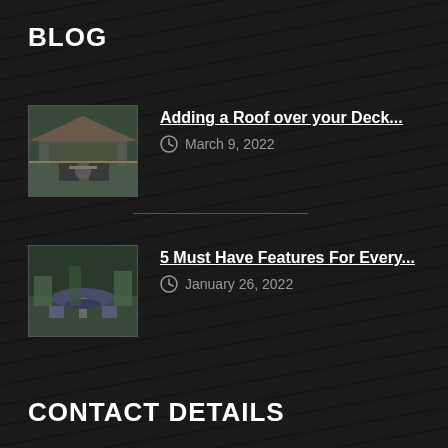BLOG
[Figure (photo): Thumbnail photo of a covered deck/patio area with outdoor furniture]
Adding a Roof over your Deck...
March 9, 2022
[Figure (photo): Thumbnail photo of a patio with outdoor seating and umbrella table]
5 Must Have Features For Every...
January 26, 2022
CONTACT DETAILS